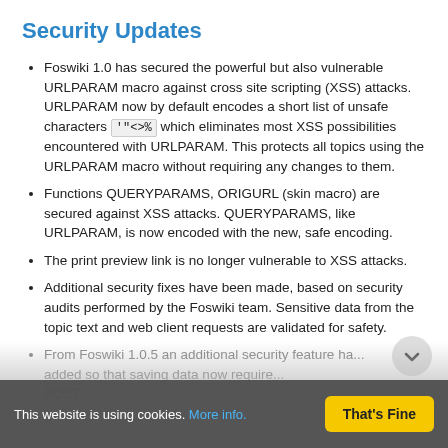Security Updates
Foswiki 1.0 has secured the powerful but also vulnerable URLPARAM macro against cross site scripting (XSS) attacks. URLPARAM now by default encodes a short list of unsafe characters '"<>% which eliminates most XSS possibilities encountered with URLPARAM. This protects all topics using the URLPARAM macro without requiring any changes to them.
Functions QUERYPARAMS, ORIGURL (skin macro) are secured against XSS attacks. QUERYPARAMS, like URLPARAM, is now encoded with the new, safe encoding.
The print preview link is no longer vulnerable to XSS attacks.
Additional security fixes have been made, based on security audits performed by the Foswiki team. Sensitive data from the topic text and web client requests are validated for safety.
From Foswiki 1.0.5 an additional security feature has been added so that saving data now require... POST.